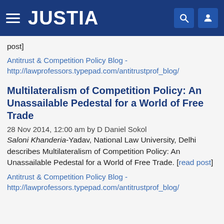JUSTIA
post]
Antitrust & Competition Policy Blog - http://lawprofessors.typepad.com/antitrustprof_blog/
Multilateralism of Competition Policy: An Unassailable Pedestal for a World of Free Trade
28 Nov 2014, 12:00 am by D Daniel Sokol
Saloni Khanderia-Yadav, National Law University, Delhi describes Multilateralism of Competition Policy: An Unassailable Pedestal for a World of Free Trade. [read post]
Antitrust & Competition Policy Blog - http://lawprofessors.typepad.com/antitrustprof_blog/